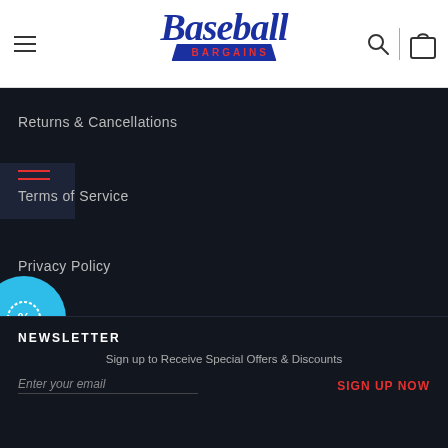[Figure (logo): Baseball Bargains logo with script blue text and red banner]
Returns & Cancellations
Terms of Service
Privacy Policy
[Figure (illustration): Teal discount/coupon badge circle with percent icon]
Contact Us
NEWSLETTER
Sign up to Receive Special Offers & Discounts
Enter your email
SIGN UP NOW